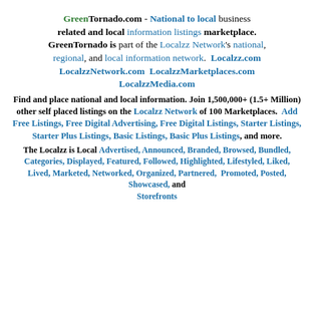GreenTornado.com - National to local business related and local information listings marketplace. GreenTornado is part of the Localzz Network's national, regional, and local information network. Localzz.com LocalzzNetwork.com LocalzzMarketplaces.com LocalzzMedia.com
Find and place national and local information. Join 1,500,000+ (1.5+ Million) other self placed listings on the Localzz Network of 100 Marketplaces. Add Free Listings, Free Digital Advertising, Free Digital Listings, Starter Listings, Starter Plus Listings, Basic Listings, Basic Plus Listings, and more.
The Localzz is Local Advertised, Announced, Branded, Browsed, Bundled, Categories, Displayed, Featured, Followed, Highlighted, Lifestyled, Liked, Lived, Marketed, Networked, Organized, Partnered, Promoted, Posted, Showcased, and Storefronts